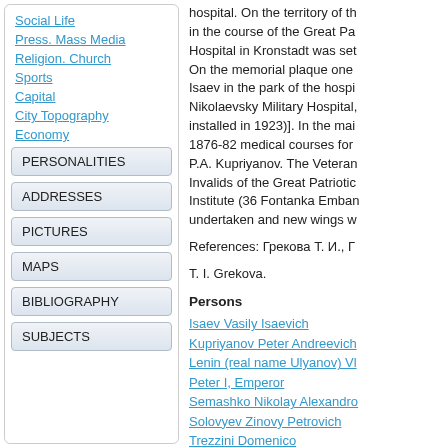Social Life
Press. Mass Media
Religion. Church
Sports
Capital
City Topography
Economy
PERSONALITIES
ADDRESSES
PICTURES
MAPS
BIBLIOGRAPHY
SUBJECTS
hospital. On the territory of th... in the course of the Great Pa... Hospital in Kronstadt was set... On the memorial plaque one ... Isaev in the park of the hospi... Nikolaevsky Military Hospital, ... installed in 1923)]. In the mai... 1876-82 medical courses for ... P.A. Kupriyanov. The Veteran... Invalids of the Great Patriotic... Institute (36 Fontanka Emban... undertaken and new wings w...
References: Грекова Т. И., Г...
T. I. Grekova.
Persons
Isaev Vasily Isaevich
Kupriyanov Peter Andreevich
Lenin (real name Ulyanov) Vl...
Peter I, Emperor
Semashko Nikolay Alexandro...
Solovyev Zinovy Petrovich
Trezzini Domenico
Addresses
Fontanka River Embankment...
Narodnaya St./Saint Petersb...
Staro-Petergofsky Ave/Saint...